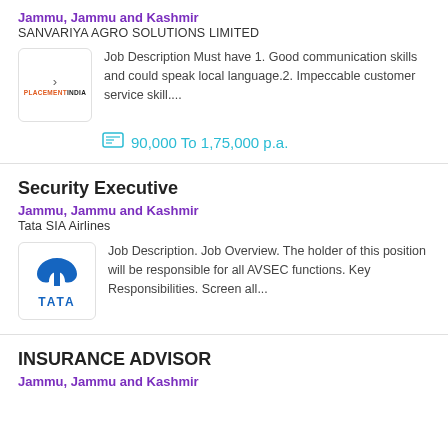Jammu, Jammu and Kashmir
SANVARIYA AGRO SOLUTIONS LIMITED
Job Description Must have 1. Good communication skills and could speak local language.2. Impeccable customer service skill....
90,000 To 1,75,000 p.a.
Security Executive
Jammu, Jammu and Kashmir
Tata SIA Airlines
Job Description. Job Overview. The holder of this position will be responsible for all AVSEC functions. Key Responsibilities. Screen all...
INSURANCE ADVISOR
Jammu, Jammu and Kashmir